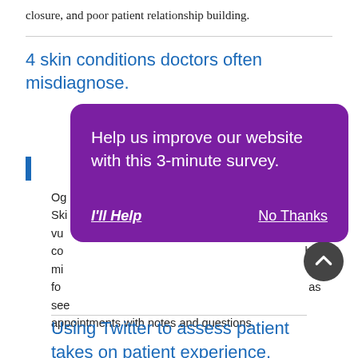closure, and poor patient relationship building.
4 skin conditions doctors often misdiagnose.
Og... Skin conditions... vulnerable... could be misdiagnosed... forms... as seen... appointments with notes and questions.
[Figure (screenshot): Purple modal dialog overlay on webpage with text 'Help us improve our website with this 3-minute survey.' and two buttons: 'I'll Help' and 'No Thanks']
Using Twitter to assess patient takes on patient experience.